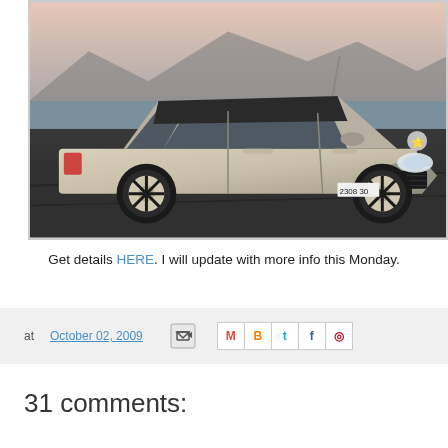[Figure (photo): Silver Peugeot 308 hatchback car photographed outdoors near coastal rocky landscape with mountain in background. Car has license plate partially visible reading '2308'. Overcast sky with pinkish hue.]
Get details HERE. I will update with more info this Monday.
at October 02, 2009 [email icon] [share icons: M, B, t, f, Pinterest]
31 comments: